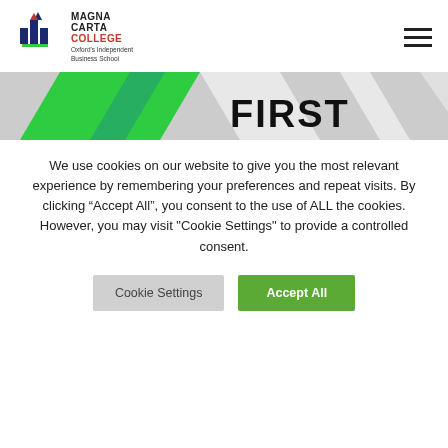[Figure (logo): Magna Carta College logo with building/arch icon and text 'MAGNA CARTA COLLEGE Oxford's Independent Business School']
[Figure (illustration): Banner strip with green and grey diagonal stripes and partial text 'FIRST' visible]
We use cookies on our website to give you the most relevant experience by remembering your preferences and repeat visits. By clicking “Accept All”, you consent to the use of ALL the cookies. However, you may visit "Cookie Settings" to provide a controlled consent.
Cookie Settings
Accept All